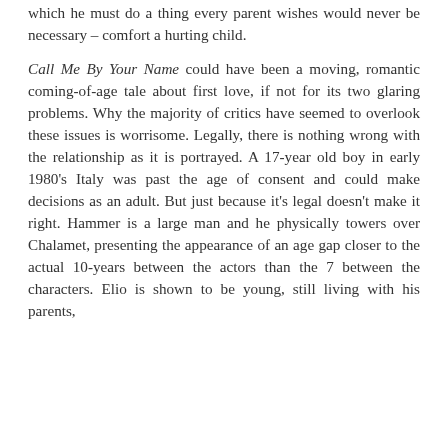which he must do a thing every parent wishes would never be necessary – comfort a hurting child.
Call Me By Your Name could have been a moving, romantic coming-of-age tale about first love, if not for its two glaring problems. Why the majority of critics have seemed to overlook these issues is worrisome. Legally, there is nothing wrong with the relationship as it is portrayed. A 17-year old boy in early 1980's Italy was past the age of consent and could make decisions as an adult. But just because it's legal doesn't make it right. Hammer is a large man and he physically towers over Chalamet, presenting the appearance of an age gap closer to the actual 10-years between the actors than the 7 between the characters. Elio is shown to be young, still living with his parents, following their rules and being his best in their